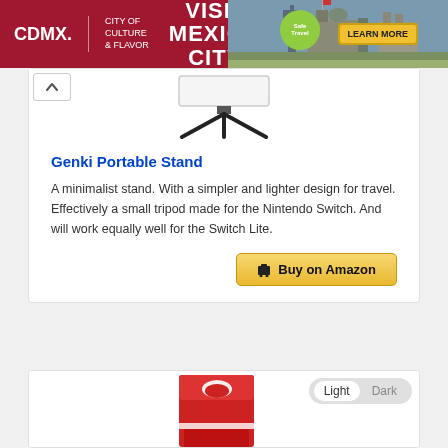[Figure (photo): CDMX City of Culture & Flavor - Visit Mexico City advertisement banner with photo of historic cathedral]
[Figure (photo): Genki Portable Stand tripod product image - minimalist black tripod stand]
Genki Portable Stand
A minimalist stand. With a simpler and lighter design for travel. Effectively a small tripod made for the Nintendo Switch. And will work equally well for the Switch Lite.
Buy on Amazon
[Figure (photo): Partial view of a product box (red and white Nintendo-related packaging) at the bottom of the page]
Light  Dark